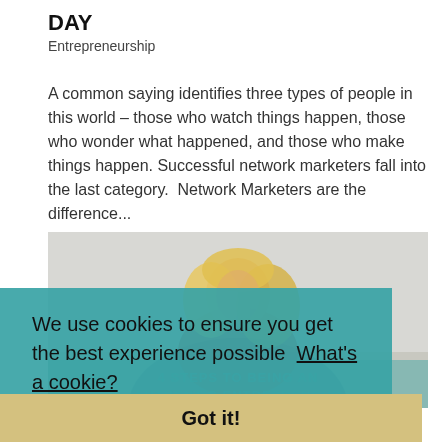DAY
Entrepreneurship
A common saying identifies three types of people in this world – those who watch things happen, those who wonder what happened, and those who make things happen. Successful network marketers fall into the last category.  Network Marketers are the difference...
[Figure (photo): A smiling blonde woman in a red top posing against a light grey background, with text '4 STEPS TO BEING AN AUTHENTIC ENTREPRENEUR' overlaid at the bottom]
We use cookies to ensure you get the best experience possible  What's a cookie?
Got it!